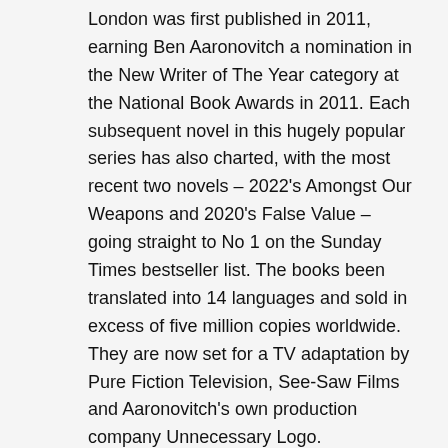London was first published in 2011, earning Ben Aaronovitch a nomination in the New Writer of The Year category at the National Book Awards in 2011. Each subsequent novel in this hugely popular series has also charted, with the most recent two novels – 2022's Amongst Our Weapons and 2020's False Value – going straight to No 1 on the Sunday Times bestseller list. The books been translated into 14 languages and sold in excess of five million copies worldwide. They are now set for a TV adaptation by Pure Fiction Television, See-Saw Films and Aaronovitch's own production company Unnecessary Logo.